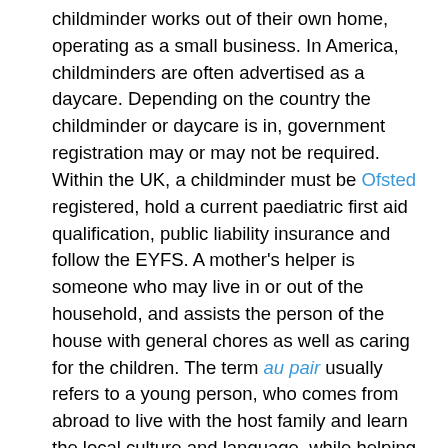childminder works out of their own home, operating as a small business. In America, childminders are often advertised as a daycare. Depending on the country the childminder or daycare is in, government registration may or may not be required. Within the UK, a childminder must be Ofsted registered, hold a current paediatric first aid qualification, public liability insurance and follow the EYFS. A mother's helper is someone who may live in or out of the household, and assists the person of the house with general chores as well as caring for the children. The term au pair usually refers to a young person, who comes from abroad to live with the host family and learn the local culture and language, while helping care for the children. A governess concentrates on educating children inside their own home, and a kindergarten or schoolteacher does the same, but in a school environment.
Even though there are no legal requirements to be considered a nanny, families may require a background check or a CPR certification. Families may also look for other special skills in a nanny, such as driving abilities and...